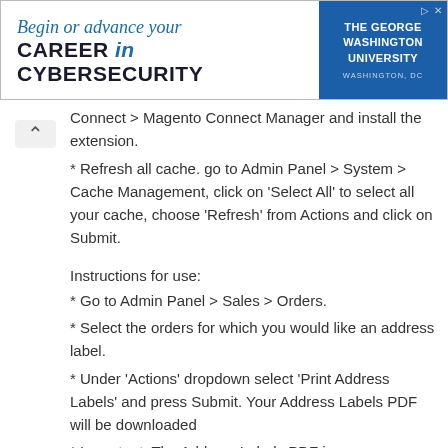[Figure (other): Advertisement banner for The George Washington University: 'Begin or advance your CAREER in CYBERSECURITY' with GWU logo on blue background, Washington DC.]
Connect > Magento Connect Manager and install the extension.
* Refresh all cache. go to Admin Panel > System > Cache Management, click on 'Select All' to select all your cache, choose 'Refresh' from Actions and click on Submit.
Instructions for use:
* Go to Admin Panel > Sales > Orders.
* Select the orders for which you would like an address label.
* Under 'Actions' dropdown select 'Print Address Labels' and press Submit. Your Address Labels PDF will be downloaded
* Important: The Address Labels PDF is